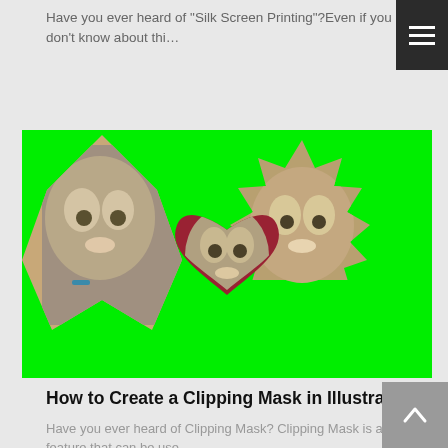Have you ever heard of "Silk Screen Printing"?Even if you don't know about thi…
[Figure (illustration): Bright green background image showing three cat photos clipped into different shapes: a diamond/star shape on the left with a tabby cat face, a spiky star burst shape on the upper right with a tabby cat face, and a heart shape in the center-bottom with a kitten photo.]
How to Create a Clipping Mask in Illustrator
Have you ever heard of Clipping Mask? Clipping Mask is a feature that can be use…